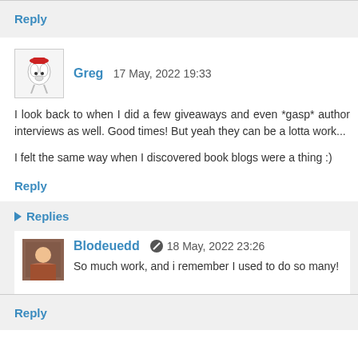Reply
Greg 17 May, 2022 19:33
I look back to when I did a few giveaways and even *gasp* author interviews as well. Good times! But yeah they can be a lotta work...
I felt the same way when I discovered book blogs were a thing :)
Reply
Replies
Blodeuedd 18 May, 2022 23:26
So much work, and i remember I used to do so many!
Reply